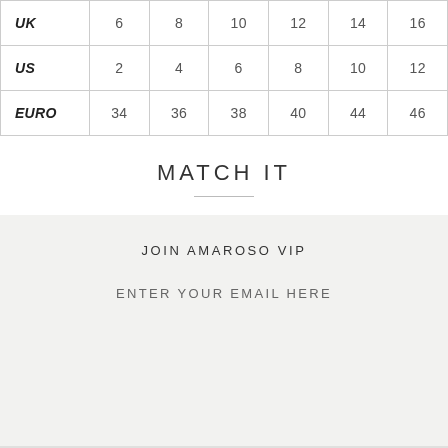|  | 6 | 8 | 10 | 12 | 14 | 16 |
| --- | --- | --- | --- | --- | --- | --- |
| UK | 6 | 8 | 10 | 12 | 14 | 16 |
| US | 2 | 4 | 6 | 8 | 10 | 12 |
| EURO | 34 | 36 | 38 | 40 | 44 | 46 |
MATCH IT
JOIN AMAROSO VIP
ENTER YOUR EMAIL HERE